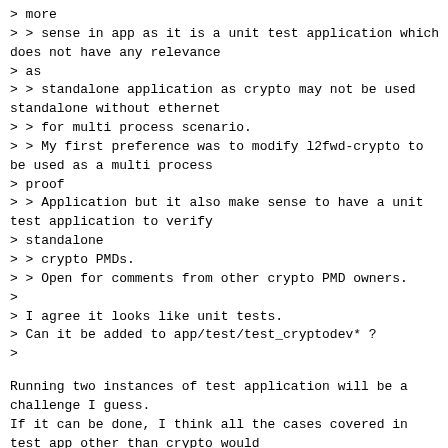> more
> > sense in app as it is a unit test application which does not have any relevance
> as
> > standalone application as crypto may not be used standalone without ethernet
> > for multi process scenario.
> > My first preference was to modify l2fwd-crypto to be used as a multi process
> proof
> > Application but it also make sense to have a unit test application to verify
> standalone
> > crypto PMDs.
> > Open for comments from other crypto PMD owners.
>
> I agree it looks like unit tests.
> Can it be added to app/test/test_cryptodev* ?
>
Running two instances of test application will be a challenge I guess.
If it can be done, I think all the cases covered in test app other than crypto would
be affected/tested.
Test-crypto-perf can be a better option but it may defeat the purpose of test-crypto-perf.
Best would be to make l2fwd-crypto compliant with multi process.